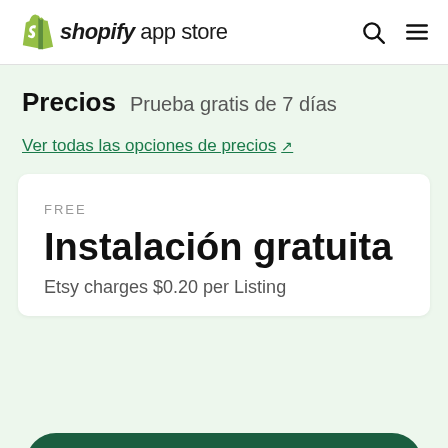shopify app store
Precios  Prueba gratis de 7 días
Ver todas las opciones de precios ↗
FREE
Instalación gratuita
Etsy charges $0.20 per Listing
¿Todavía no tienes una tienda Shopify? Comienza una prueba gratis →
Manage up to 10 Orders/month